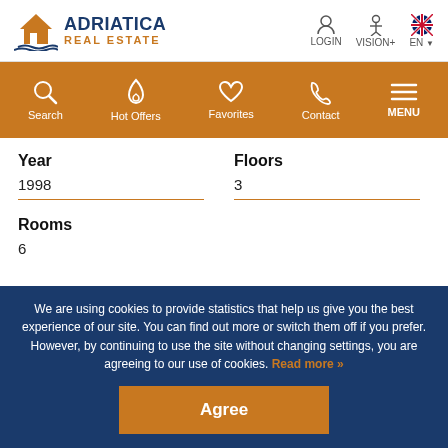[Figure (logo): Adriatica Real Estate logo with house icon]
LOGIN  VISION+  EN
[Figure (infographic): Orange navigation bar with Search, Hot Offers, Favorites, Contact, MENU icons]
Year
1998
Floors
3
Rooms
6
We are using cookies to provide statistics that help us give you the best experience of our site. You can find out more or switch them off if you prefer. However, by continuing to use the site without changing settings, you are agreeing to our use of cookies. Read more »
Agree